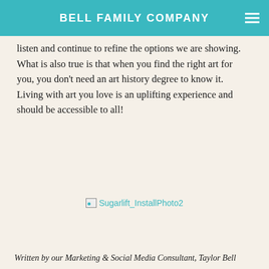BELL FAMILY COMPANY
listen and continue to refine the options we are showing. What is also true is that when you find the right art for you, you don't need an art history degree to know it. Living with art you love is an uplifting experience and should be accessible to all!
[Figure (photo): Broken image placeholder labeled Sugarlift_InstallPhoto2]
Written by our Marketing & Social Media Consultant, Taylor Bell